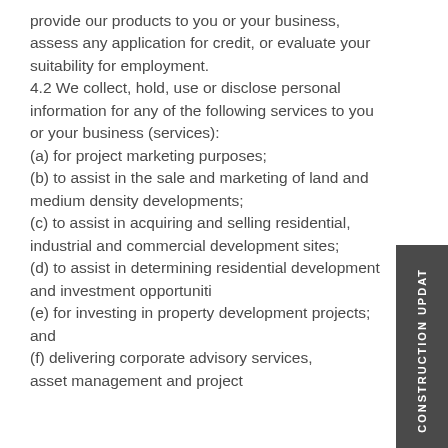provide our products to you or your business, assess any application for credit, or evaluate your suitability for employment. 4.2 We collect, hold, use or disclose personal information for any of the following services to you or your business (services): (a) for project marketing purposes; (b) to assist in the sale and marketing of land and medium density developments; (c) to assist in acquiring and selling residential, industrial and commercial development sites; (d) to assist in determining residential development and investment opportuniti (e) for investing in property development projects;  and (f) delivering corporate advisory services, asset management and project